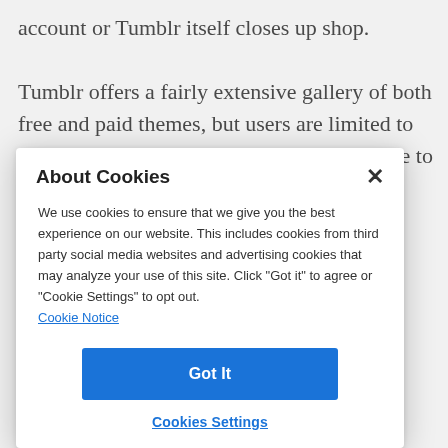account or Tumblr itself closes up shop.

Tumblr offers a fairly extensive gallery of both free and paid themes, but users are limited to those options unless they know enough code to make
About Cookies
We use cookies to ensure that we give you the best experience on our website. This includes cookies from third party social media websites and advertising cookies that may analyze your use of this site. Click "Got it" to agree or "Cookie Settings" to opt out.
Cookie Notice
Got It
Cookies Settings